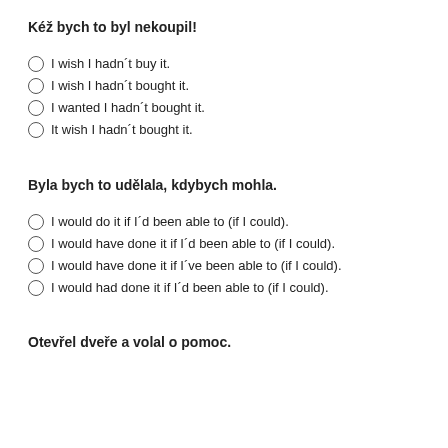Kéž bych to byl nekoupil!
I wish I hadn´t buy it.
I wish I hadn´t bought it.
I wanted I hadn´t bought it.
It wish I hadn´t bought it.
Byla bych to udělala, kdybych mohla.
I would do it if I´d been able to (if I could).
I would have done it if I´d been able to (if I could).
I would have done it if I´ve been able to (if I could).
I would had done it if I´d been able to (if I could).
Otevřel dveře a volal o pomoc.